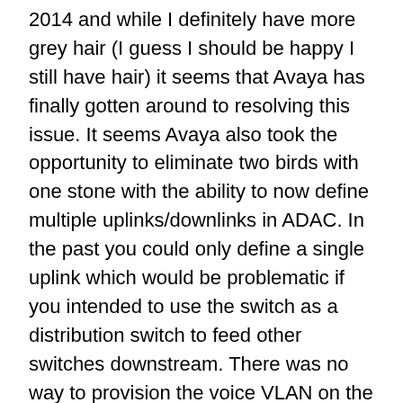2014 and while I definitely have more grey hair (I guess I should be happy I still have hair) it seems that Avaya has finally gotten around to resolving this issue. It seems Avaya also took the opportunity to eliminate two birds with one stone with the ability to now define multiple uplinks/downlinks in ADAC. In the past you could only define a single uplink which would be problematic if you intended to use the switch as a distribution switch to feed other switches downstream. There was no way to provision the voice VLAN on the downlinks because ADAC would remove any manually added ports from the voice VLAN.
The Autodetection and Autoconfiguration ( ADAC) Enhancements provide increased flexibility in deployments that use ADAC as follows:
expanded support for up to 8 ADAC uplinks and